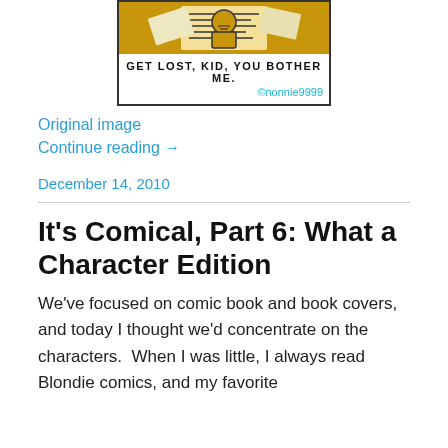[Figure (illustration): Comic strip panel showing a figure with scattered papers/calculator, with caption 'GET LOST, KID, YOU BOTHER ME.' and byline '@nonnie9999']
Original image
Continue reading →
December 14, 2010
It's Comical, Part 6: What a Character Edition
We've focused on comic book and book covers, and today I thought we'd concentrate on the characters.  When I was little, I always read Blondie comics, and my favorite character was Dagwood, but then Mr. Dithers, I did...